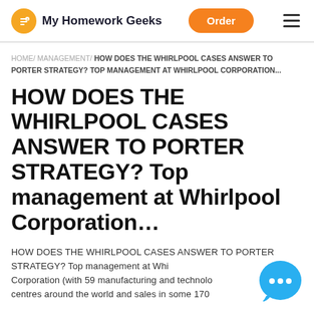My Homework Geeks | Order
HOME/ MANAGEMENT/ HOW DOES THE WHIRLPOOL CASES ANSWER TO PORTER STRATEGY? TOP MANAGEMENT AT WHIRLPOOL CORPORATION...
HOW DOES THE WHIRLPOOL CASES ANSWER TO PORTER STRATEGY? Top management at Whirlpool Corporation…
HOW DOES THE WHIRLPOOL CASES ANSWER TO PORTER STRATEGY? Top management at Whirlpool Corporation (with 59 manufacturing and technology centres around the world and sales in some 170